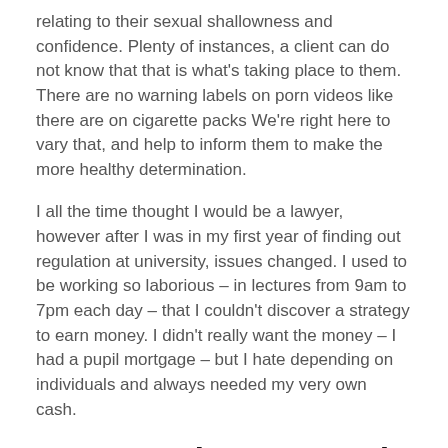relating to their sexual shallowness and confidence. Plenty of instances, a client can do not know that that is what's taking place to them. There are no warning labels on porn videos like there are on cigarette packs We're right here to vary that, and help to inform them to make the more healthy determination.
I all the time thought I would be a lawyer, however after I was in my first year of finding out regulation at university, issues changed. I used to be working so laborious – in lectures from 9am to 7pm each day – that I couldn't discover a strategy to earn money. I didn't really want the money – I had a pupil mortgage – but I hate depending on individuals and always needed my very own cash.
Compared – No-Hassle Best Porn Site Solutions